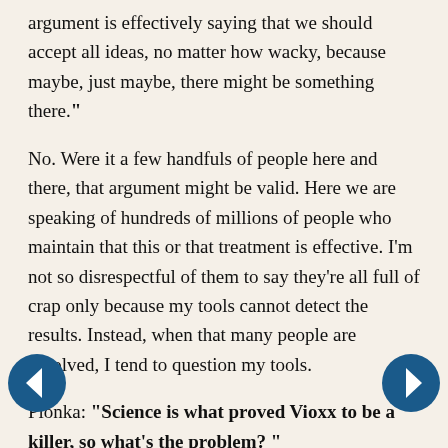argument is effectively saying that we should accept all ideas, no matter how wacky, because maybe, just maybe, there might be something there."
No. Were it a few handfuls of people here and there, that argument might be valid. Here we are speaking of hundreds of millions of people who maintain that this or that treatment is effective. I'm not so disrespectful of them to say they're all full of crap only because my tools cannot detect the results. Instead, when that many people are involved, I tend to question my tools.
Plonka: "Science is what proved Vioxx to be a killer, so what's the problem? "
Granted, it did prove Vioxx a killer, but don't forget the 27,000 lawsuits. If a baseball team